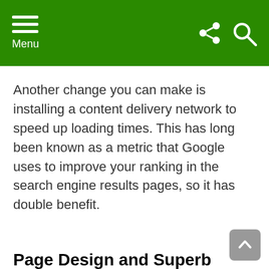Menu
Another change you can make is installing a content delivery network to speed up loading times. This has long been known as a metric that Google uses to improve your ranking in the search engine results pages, so it has double benefit.
Page Design and Superb Content